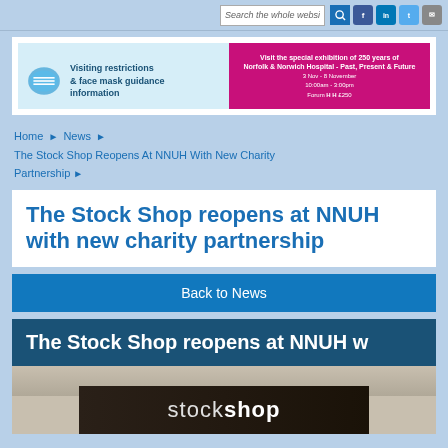Search the whole website | Facebook | LinkedIn | Twitter | Email
[Figure (screenshot): Banner with visiting restrictions and face mask guidance information (blue panel with mask icon) and a pink promotional banner for hospital exhibition]
Home ▶ News ▶ The Stock Shop Reopens At NNUH With New Charity Partnership ▶
The Stock Shop reopens at NNUH with new charity partnership
Back to News
The Stock Shop reopens at NNUH w
[Figure (photo): Photo of a Stock Shop sign - black board with white text reading 'stock shop']